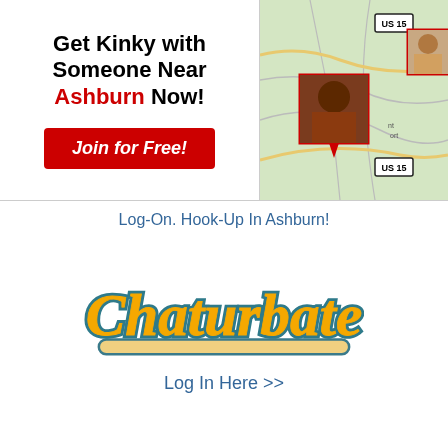[Figure (infographic): Ad banner: left side shows text 'Get Kinky with Someone Near Ashburn Now!' with red Join for Free button; right side shows a map with US 15 badges and profile photo pins]
Log-On. Hook-Up In Ashburn!
[Figure (logo): Chaturbate logo in orange/yellow script with teal outline and underline]
Log In Here >>